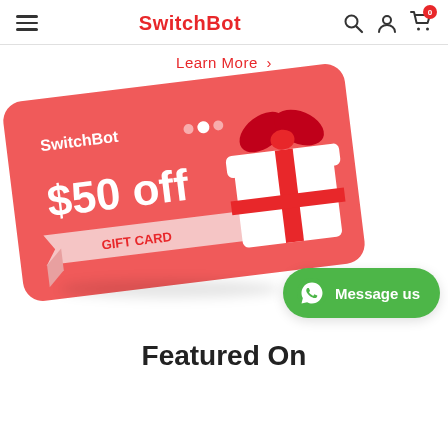SwitchBot
Learn More >
[Figure (illustration): A SwitchBot $50 off gift card (red card, tilted, with white gift box illustration and ribbon)]
[Figure (other): WhatsApp Message us button (green rounded button with WhatsApp icon and text 'Message us')]
Featured On